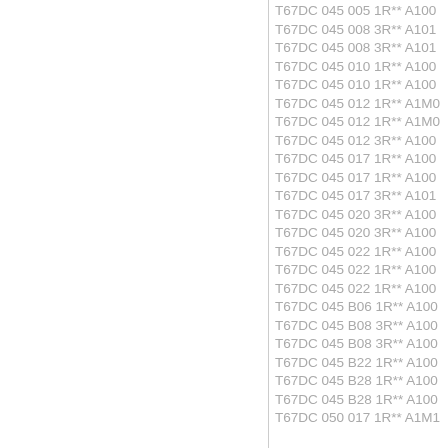T67DC  045 005 1R** A100
T67DC  045 008 3R** A101
T67DC  045 008 3R** A101
T67DC  045 010 1R** A100
T67DC  045 010 1R** A100
T67DC  045 012 1R** A1M0
T67DC  045 012 1R** A1M0
T67DC  045 012 3R** A100
T67DC  045 017 1R** A100
T67DC  045 017 1R** A100
T67DC  045 017 3R** A101
T67DC  045 020 3R** A100
T67DC  045 020 3R** A100
T67DC  045 022 1R** A100
T67DC  045 022 1R** A100
T67DC  045 022 1R** A100
T67DC  045 B06 1R** A100
T67DC  045 B08 3R** A100
T67DC  045 B08 3R** A100
T67DC  045 B22 1R** A100
T67DC  045 B28 1R** A100
T67DC  045 B28 1R** A100
T67DC  050 017 1R** A1M1